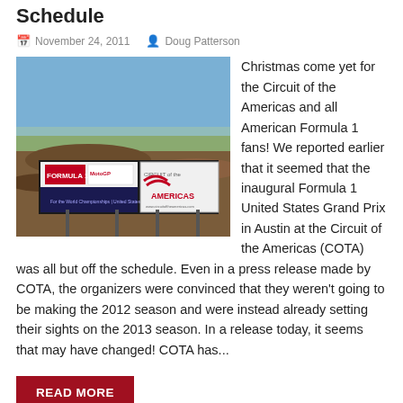Schedule
November 24, 2011   Doug Patterson
[Figure (photo): Construction site photo of Circuit of the Americas (COTA) showing dirt terrain with Formula 1 and Circuit of the Americas promotional signage/billboards in front, blue sky in background.]
Christmas come yet for the Circuit of the Americas and all American Formula 1 fans! We reported earlier that it seemed that the inaugural Formula 1 United States Grand Prix in Austin at the Circuit of the Americas (COTA) was all but off the schedule. Even in a press release made by COTA, the organizers were convinced that they weren't going to be making the 2012 season and were instead already setting their sights on the 2013 season. In a release today, it seems that may have changed! COTA has...
READ MORE